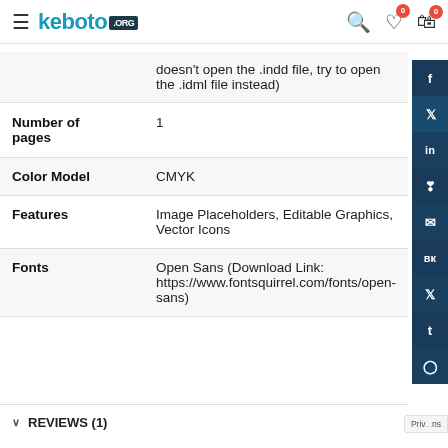keboto.org
|  | doesn't open the .indd file, try to open the .idml file instead) |
| Number of pages | 1 |
| Color Model | CMYK |
| Features | Image Placeholders, Editable Graphics, Vector Icons |
| Fonts | Open Sans (Download Link: https://www.fontsquirrel.com/fonts/open-sans) |
REVIEWS (1)